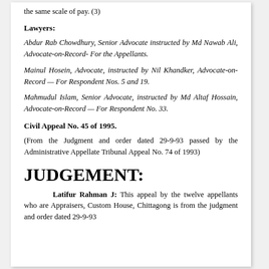the same scale of pay. (3)
Lawyers:
Abdur Rab Chowdhury, Senior Advocate instructed by Md Nawab Ali, Advocate-on-Record- For the Appellants.
Mainul Hosein, Advocate, instructed by Nil Khandker, Advocate-on-Record — For Respondent Nos. 5 and 19.
Mahmudul Islam, Senior Advocate, instructed by Md Altaf Hossain, Advocate-on-Record — For Respondent No. 33.
Civil Appeal No. 45 of 1995.
(From the Judgment and order dated 29-9-93 passed by the Administrative Appellate Tribunal Appeal No. 74 of 1993)
JUDGEMENT:
Latifur Rahman J: This appeal by the twelve appellants who are Appraisers, Custom House, Chittagong is from the judgment and order dated 29-9-93